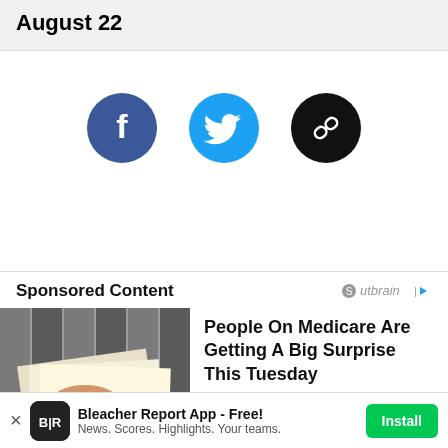August 22
[Figure (other): Social sharing buttons: Facebook (blue circle with f), Twitter (light blue circle with bird), and Link/copy (black circle with chain link icon)]
Sponsored Content
[Figure (other): Outbrain logo with play arrow icon]
[Figure (photo): Photo of hands holding papers/checks, filing documents]
People On Medicare Are Getting A Big Surprise This Tuesday
Sponsored: SimplySaveToday
[Figure (logo): Bleacher Report app icon - black rounded square with B|R text in white]
Bleacher Report App - Free! News. Scores. Highlights. Your teams.